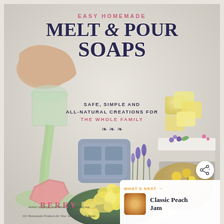[Figure (photo): Book cover of 'Easy Homemade Melt & Pour Soaps' showing an overhead/flat-lay photo of various handmade soaps, molds, and natural ingredients on a light gray surface. A hand pours green liquid soap into a mold. Various soaps visible: pink hexagonal soap, yellow cube soaps, layered gray/white soaps decorated with purple flowers, yellow flower-shaped soaps in a dark green ceramic bowl, and a brown bowl with dandelions. Blue-purple lavender stems and flowers also visible.]
EASY HOMEMADE MELT & POUR SOAPS
SAFE, SIMPLE AND ALL-NATURAL CREATIONS FOR THE WHOLE FAMILY
WHAT'S NEXT → Classic Peach Jam
BERRY
Author of Simple and Natural Soapmaking and 101 Homemade Products for Your Skin, Health & Home